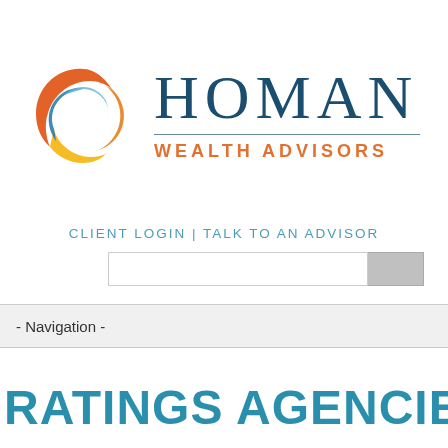[Figure (logo): Homan Wealth Advisors logo: circular swirl icon in orange, gold, and blue, with 'HOMAN' in dark teal serif font and 'WEALTH ADVISORS' in orange sans-serif below a horizontal rule]
CLIENT LOGIN | TALK TO AN ADVISOR
- Navigation -
RATINGS AGENCIES AND THE